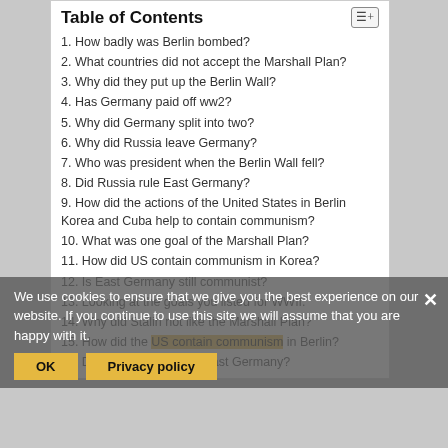Table of Contents
1. How badly was Berlin bombed?
2. What countries did not accept the Marshall Plan?
3. Why did they put up the Berlin Wall?
4. Has Germany paid off ww2?
5. Why did Germany split into two?
6. Why did Russia leave Germany?
7. Who was president when the Berlin Wall fell?
8. Did Russia rule East Germany?
9. How did the actions of the United States in Berlin Korea and Cuba help to contain communism?
10. What was one goal of the Marshall Plan?
11. How did US contain communism in Korea?
12. Is East Germany still communist?
13. Looking at the goals you listed for WWII.
14. Why did Stalin not like the Marshall Plan?
15. How did the US contain communism in Berlin?
16. Did the US recognize East Germany?
We use cookies to ensure that we give you the best experience on our website. If you continue to use this site we will assume that you are happy with it.